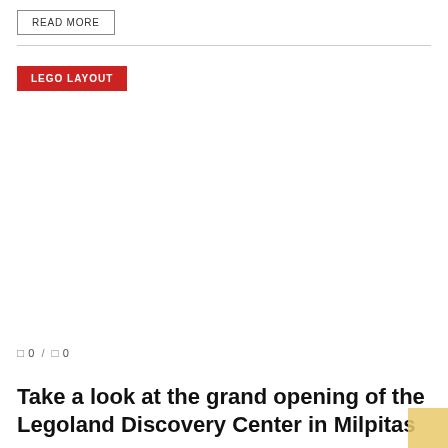READ MORE
LEGO LAYOUT
0 / 0
Take a look at the grand opening of the Legoland Discovery Center in Milpitas